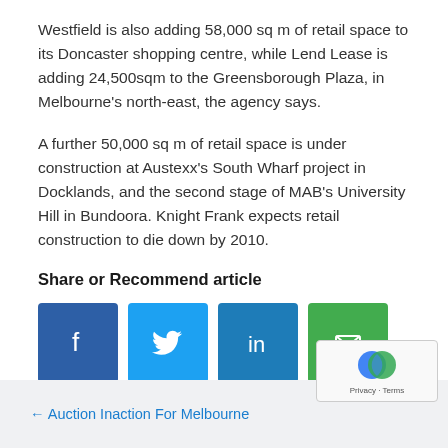Westfield is also adding 58,000 sq m of retail space to its Doncaster shopping centre, while Lend Lease is adding 24,500sqm to the Greensborough Plaza, in Melbourne's north-east, the agency says.
A further 50,000 sq m of retail space is under construction at Austexx's South Wharf project in Docklands, and the second stage of MAB's University Hill in Bundoora. Knight Frank expects retail construction to die down by 2010.
Share or Recommend article
[Figure (infographic): Four social sharing buttons: Facebook (blue), Twitter (light blue), LinkedIn (dark blue), Email (green), each as a square icon with white symbol.]
← Auction Inaction For Melbourne